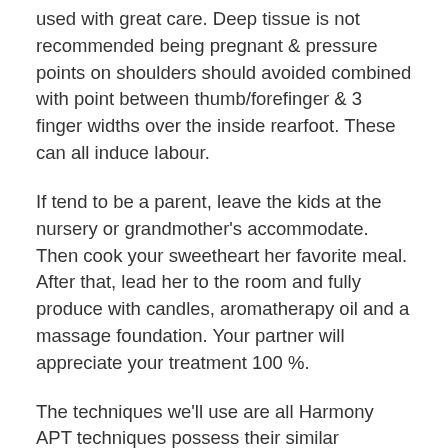used with great care. Deep tissue is not recommended being pregnant & pressure points on shoulders should avoided combined with point between thumb/forefinger & 3 finger widths over the inside rearfoot. These can all induce labour.
If tend to be a parent, leave the kids at the nursery or grandmother's accommodate. Then cook your sweetheart her favorite meal. After that, lead her to the room and fully produce with candles, aromatherapy oil and a massage foundation. Your partner will appreciate your treatment 100 %.
The techniques we'll use are all Harmony APT techniques possess their similar techniques other designs of massage. Swedish massage is the most popular way for massage and certain terms used in conventional methods will be of help to know, even though we will be